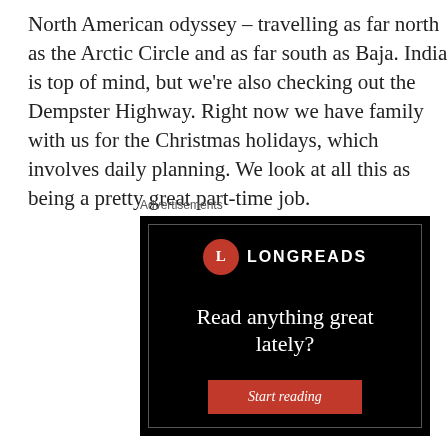North American odyssey – travelling as far north as the Arctic Circle and as far south as Baja. India is top of mind, but we're also checking out the Dempster Highway. Right now we have family with us for the Christmas holidays, which involves daily planning. We look at all this as being a pretty great part-time job.
Advertisements
[Figure (other): Longreads advertisement on black background with logo, tagline 'Read anything great lately?' and a red 'Start reading' button.]